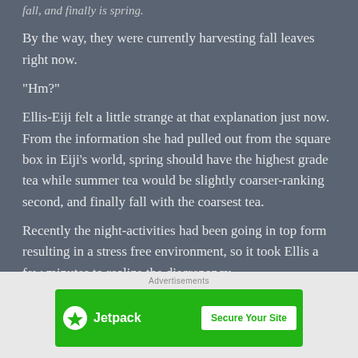fall, and finally is spring.
By the way, they were currently harvesting fall leaves right now.
“Hm?”
Ellis-Eiji felt a little strange at that explanation just now. From the information she had pulled out from the square box in Eiji’s world, spring should have the highest grade tea while summer tea would be slightly coarser-ranking second, and finally fall with the coarsest tea.
Recently the night-activities had been going in top form resulting in a stress free environment, so it took Ellis a few minutes to realize the discrepancy.
[Figure (other): Jetpack advertisement banner with green background, Jetpack logo on left with lightning bolt icon, and 'Secure Your Site' button on right. Advertisements label above.]